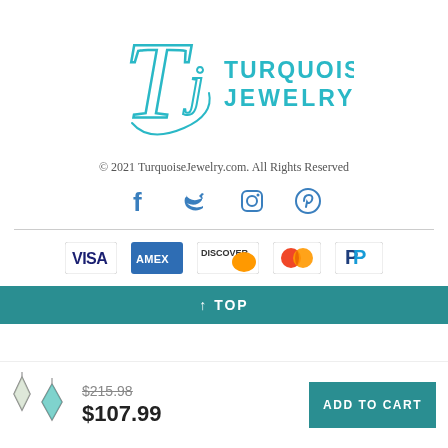[Figure (logo): Turquoise Jewelry logo with stylized TJ monogram in teal and text TURQUOISE JEWELRY]
© 2021 TurquoiseJewelry.com. All Rights Reserved
[Figure (infographic): Social media icons: Facebook, Twitter, Instagram, Pinterest in teal]
[Figure (infographic): Payment method icons: VISA, AMEX, DISCOVER, Mastercard, PayPal]
↑ TOP
[Figure (photo): Two diamond-shaped silver earrings with green turquoise stones]
$215.98
$107.99
ADD TO CART